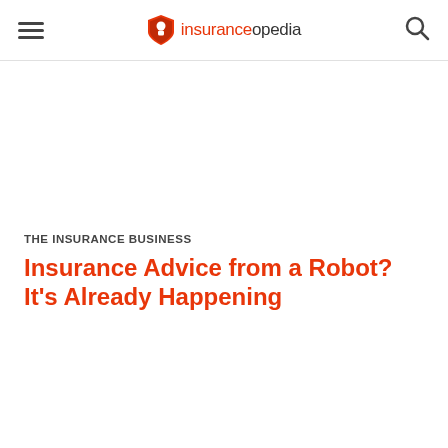insuranceopedia
THE INSURANCE BUSINESS
Insurance Advice from a Robot? It's Already Happening